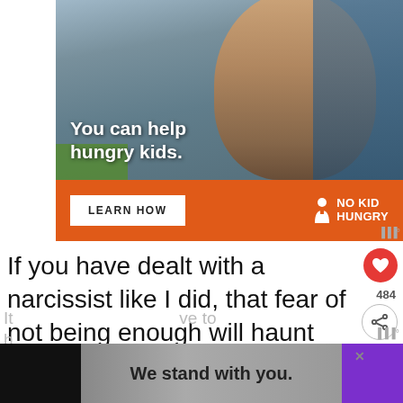[Figure (photo): No Kid Hungry advertisement. Shows a young child eating food. Text overlay reads 'You can help hungry kids.' Orange bar at bottom with 'LEARN HOW' button and No Kid Hungry logo.]
If you have dealt with a narcissist like I did, that fear of not being enough will haunt you and make your insecurities bigger.
[Figure (screenshot): Bottom advertisement: 'We stand with you.' with purple and dark background. Close button (X) visible.]